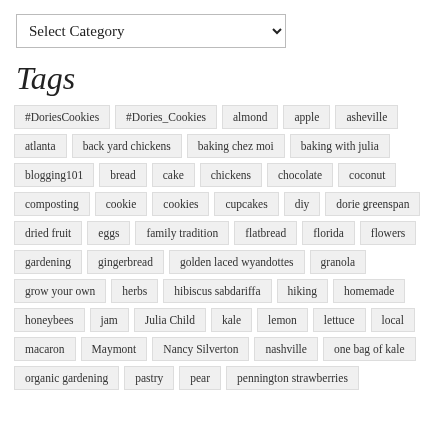[Figure (other): A dropdown select element with label 'Select Category']
Tags
#DoriesCookies
#Dories_Cookies
almond
apple
asheville
atlanta
back yard chickens
baking chez moi
baking with julia
blogging101
bread
cake
chickens
chocolate
coconut
composting
cookie
cookies
cupcakes
diy
dorie greenspan
dried fruit
eggs
family tradition
flatbread
florida
flowers
gardening
gingerbread
golden laced wyandottes
granola
grow your own
herbs
hibiscus sabdariffa
hiking
homemade
honeybees
jam
Julia Child
kale
lemon
lettuce
local
macaron
Maymont
Nancy Silverton
nashville
one bag of kale
organic gardening
pastry
pear
pennington strawberries